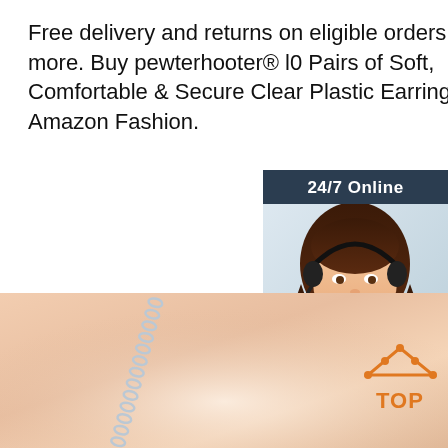Free delivery and returns on eligible orders of £20 or more. Buy pewterhooter® l0 Pairs of Soft, Comfortable & Secure Clear Plastic Earring Backs. at Amazon Fashion.
Get Price
[Figure (infographic): Sidebar ad with '24/7 Online' header, photo of woman with headset, 'Click here for free chat!' text, and orange QUOTATION button on dark blue background]
[Figure (photo): Close-up of silver chain links on a warm peach/cream gradient background, with an orange 'TOP' arrow button in bottom right corner]